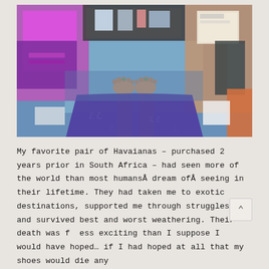[Figure (photo): Overhead/top-down view of a person in a purple patterned outfit with bare feet on a blue floor, surrounded by other passengers in colorful clothing, taken on what appears to be a train or bus. A person on the right holds a magazine.]
My favorite pair of Havaianas – purchased 2 years prior in South Africa – had seen more of the world than most humansÂ dream ofÂ seeing in their lifetime. They had taken me to exotic destinations, supported me through struggles, and survived best and worst weathering. Their death was f  ess exciting than I suppose I would have hoped… if I had hoped at all that my shoes would die any